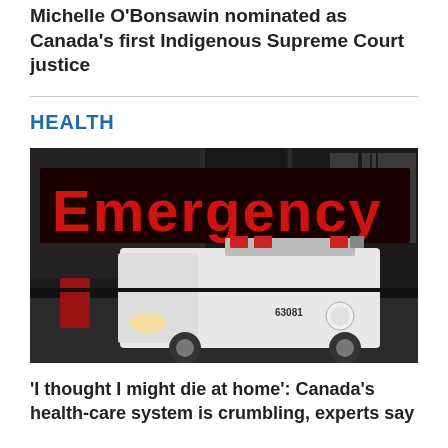Michelle O'Bonsawin nominated as Canada's first Indigenous Supreme Court justice
HEALTH
[Figure (photo): Night photo of an ambulance parked in front of a hospital Emergency entrance with large red neon 'Emergency' sign illuminated above the entrance.]
'I thought I might die at home': Canada's health-care system is crumbling, experts say